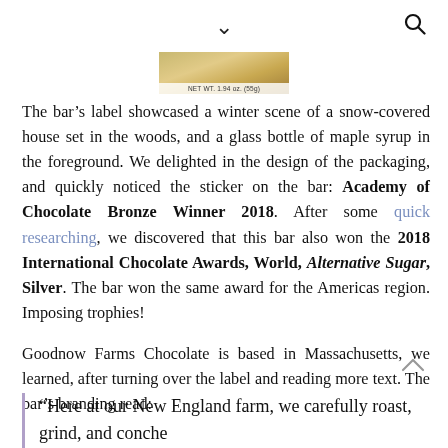chevron down / search icon navigation
[Figure (photo): Partial product image of a chocolate bar label showing text 'NET WT. 1.94 oz. (55g)']
The bar's label showcased a winter scene of a snow-covered house set in the woods, and a glass bottle of maple syrup in the foreground. We delighted in the design of the packaging, and quickly noticed the sticker on the bar: Academy of Chocolate Bronze Winner 2018. After some quick researching, we discovered that this bar also won the 2018 International Chocolate Awards, World, Alternative Sugar, Silver. The bar won the same award for the Americas region. Imposing trophies!
Goodnow Farms Chocolate is based in Massachusetts, we learned, after turning over the label and reading more text. The bar's branding read:
“Here at our New England farm, we carefully roast, grind, and conche